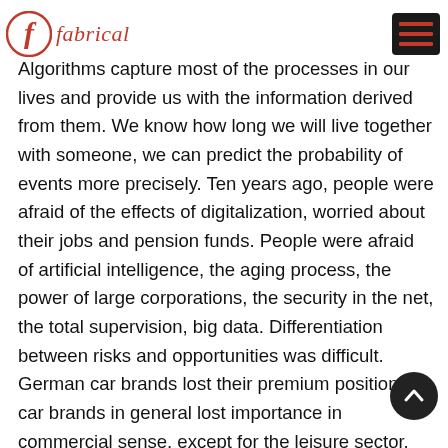fabrical
Algorithms capture most of the processes in our lives and provide us with the information derived from them. We know how long we will live together with someone, we can predict the probability of events more precisely. Ten years ago, people were afraid of the effects of digitalization, worried about their jobs and pension funds. People were afraid of artificial intelligence, the aging process, the power of large corporations, the security in the net, the total supervision, big data. Differentiation between risks and opportunities was difficult. German car brands lost their premium position, car brands in general lost importance in commercial sense, except for the leisure sector. The US is still recovering from the reign of its last president.